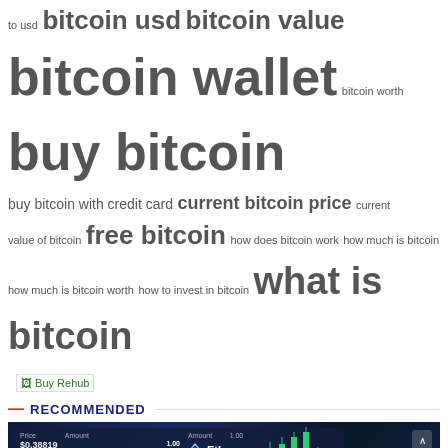to usd bitcoin usd bitcoin value bitcoin wallet bitcoin worth buy bitcoin buy bitcoin with credit card current bitcoin price current value of bitcoin free bitcoin how does bitcoin work how much is bitcoin how much is bitcoin worth how to invest in bitcoin what is bitcoin
[Figure (screenshot): Buy Rehub logo/link image placeholder]
— RECOMMENDED
[Figure (photo): Cryptocurrency trading interface screenshot showing Bitcoin price $6,256.19 and Ethereum price $190.33 with candlestick chart on dark blue background]